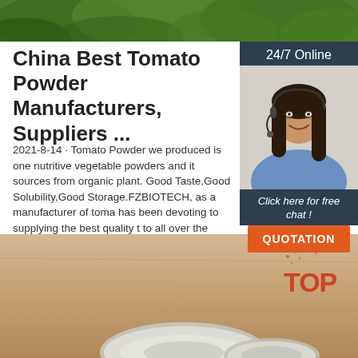[Figure (photo): Top banner image showing green leaves/plant foliage]
China Best Tomato Powder Manufacturers, Suppliers ...
2021-8-14 · Tomato Powder we produced is one nutritive vegetable powders and it sources from organic plant. Good Taste,Good Solubility,Good Storage.FZBIOTECH, as a manufacturer of tomato has been devoting to supplying the best quality to all over the world with best price.
[Figure (photo): Sidebar widget with 24/7 Online label, customer service representative photo, Click here for free chat! text, and orange QUOTATION button]
[Figure (illustration): Get Price green button]
[Figure (photo): Bottom image showing bowls with powder on a wooden table surface, with a red TOP logo in the corner]